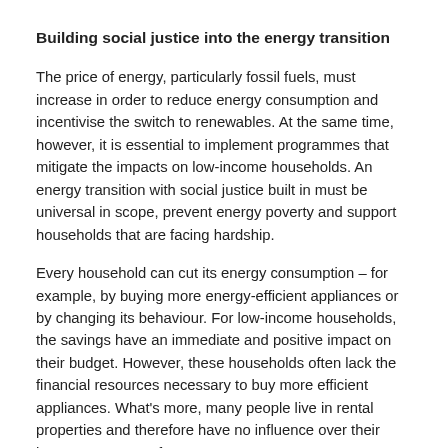Building social justice into the energy transition
The price of energy, particularly fossil fuels, must increase in order to reduce energy consumption and incentivise the switch to renewables. At the same time, however, it is essential to implement programmes that mitigate the impacts on low-income households. An energy transition with social justice built in must be universal in scope, prevent energy poverty and support households that are facing hardship.
Every household can cut its energy consumption – for example, by buying more energy-efficient appliances or by changing its behaviour. For low-income households, the savings have an immediate and positive impact on their budget. However, these households often lack the financial resources necessary to buy more efficient appliances. What's more, many people live in rental properties and therefore have no influence over their home's energy performance.
(partial, continues below)